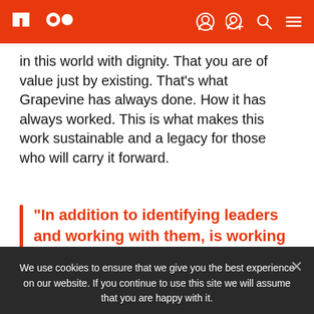AMO logo and navigation icons
in this world with dignity. That you are of value just by existing. That's what Grapevine has always done. How it has always worked. This is what makes this work sustainable and a legacy for those who will carry it forward.
“In addition to identifying leaders and working with them, is working for their
We use cookies to ensure that we give you the best experience on our website. If you continue to use this site we will assume that you are happy with it.
Accept
Reject
Privacy Policy